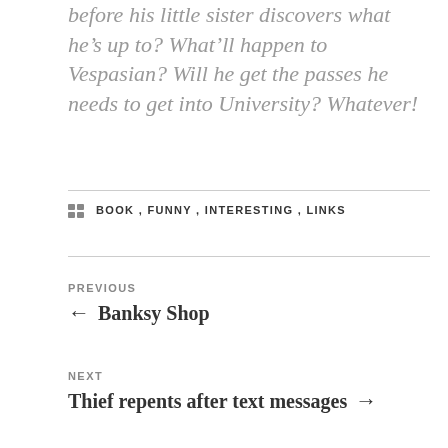before his little sister discovers what he's up to? What'll happen to Vespasian? Will he get the passes he needs to get into University? Whatever!
BOOK , FUNNY , INTERESTING , LINKS
PREVIOUS ← Banksy Shop
NEXT Thief repents after text messages →